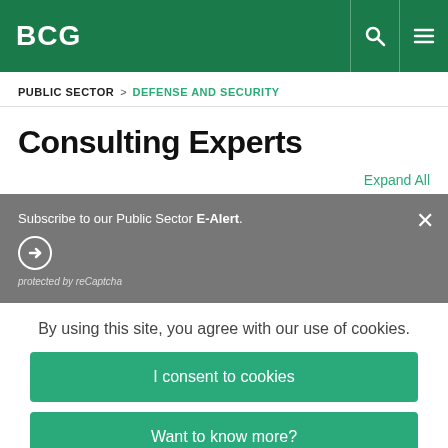BCG
PUBLIC SECTOR > DEFENSE AND SECURITY
Consulting Experts
Expand All
Subscribe to our Public Sector E-Alert.
protected by reCaptcha
By using this site, you agree with our use of cookies.
I consent to cookies
Want to know more?
Read our Cookie Policy